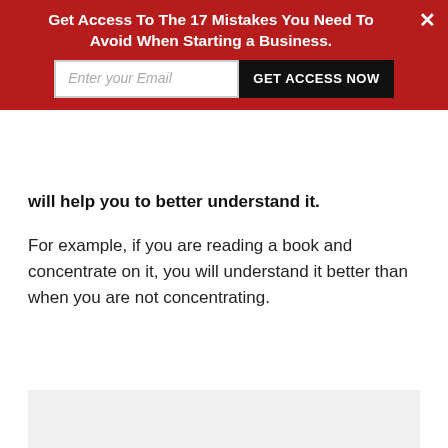[Figure (other): Red banner overlay with call-to-action: 'Get Access To The 17 Mistakes You Need To Avoid When Starting a Business.' with email input field and 'GET ACCESS NOW' button, and a close X button.]
will help you to better understand it.
For example, if you are reading a book and concentrate on it, you will understand it better than when you are not concentrating.